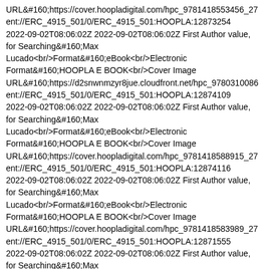URL&#160;https://cover.hoopladigital.com/hpc_9781418553456_27...ent://ERC_4915_501/0/ERC_4915_501:HOOPLA:12873254 2022-09-02T08:06:02Z 2022-09-02T08:06:02Z First Author value, for Searching&#160;Max Lucado<br/>Format&#160;eBook<br/>Electronic Format&#160;HOOPLA E BOOK<br/>Cover Image URL&#160;https://d2snwnmzyr8jue.cloudfront.net/hpc_9780310086...ent://ERC_4915_501/0/ERC_4915_501:HOOPLA:12874109 2022-09-02T08:06:02Z 2022-09-02T08:06:02Z First Author value, for Searching&#160;Max Lucado<br/>Format&#160;eBook<br/>Electronic Format&#160;HOOPLA E BOOK<br/>Cover Image URL&#160;https://cover.hoopladigital.com/hpc_9781418588915_27...ent://ERC_4915_501/0/ERC_4915_501:HOOPLA:12874116 2022-09-02T08:06:02Z 2022-09-02T08:06:02Z First Author value, for Searching&#160;Max Lucado<br/>Format&#160;eBook<br/>Electronic Format&#160;HOOPLA E BOOK<br/>Cover Image URL&#160;https://cover.hoopladigital.com/hpc_9781418583989_27...ent://ERC_4915_501/0/ERC_4915_501:HOOPLA:12871555 2022-09-02T08:06:02Z 2022-09-02T08:06:02Z First Author value, for Searching&#160;Max Lucado<br/>Format&#160;eBook<br/>Electronic Format&#160;HOOPLA E BOOK<br/>Cover Image URL&#160;https://cover.hoopladigital.com/hpc_9781418553180_27...